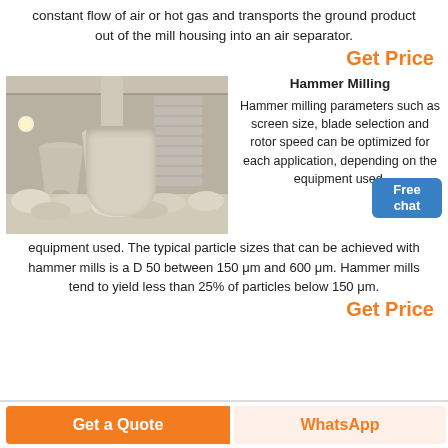constant flow of air or hot gas and transports the ground product out of the mill housing into an air separator.
Get Price
[Figure (photo): Industrial hammer milling facility with large conical hoppers and dust collection equipment in a warehouse setting]
Hammer Milling
Hammer milling parameters such as screen size, blade selection and rotor speed can be optimized for each application, depending on the equipment used. The typical particle sizes that can be achieved with hammer mills is a D 50 between 150 μm and 600 μm. Hammer mills tend to yield less than 25% of particles below 150 μm.
Get Price
Get a Quote
WhatsApp